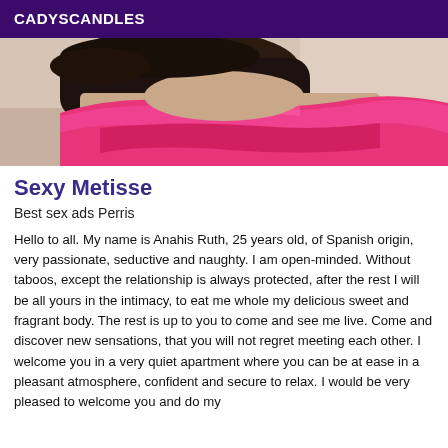CADYSCANDLES
[Figure (photo): Partial photo showing a person wearing a pink/magenta top or fabric, cropped view from neck down]
Sexy Metisse
Best sex ads Perris
Hello to all. My name is Anahis Ruth, 25 years old, of Spanish origin, very passionate, seductive and naughty. I am open-minded. Without taboos, except the relationship is always protected, after the rest I will be all yours in the intimacy, to eat me whole my delicious sweet and fragrant body. The rest is up to you to come and see me live. Come and discover new sensations, that you will not regret meeting each other. I welcome you in a very quiet apartment where you can be at ease in a pleasant atmosphere, confident and secure to relax. I would be very pleased to welcome you and do my